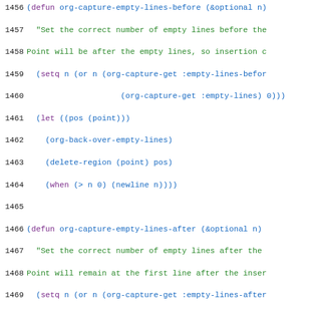[Figure (screenshot): Source code listing in Emacs Lisp, lines 1456-1485, showing definitions for org-capture-empty-lines-before, org-capture-empty-lines-after, org-clock-marker, and org-capture-set-plist functions.]